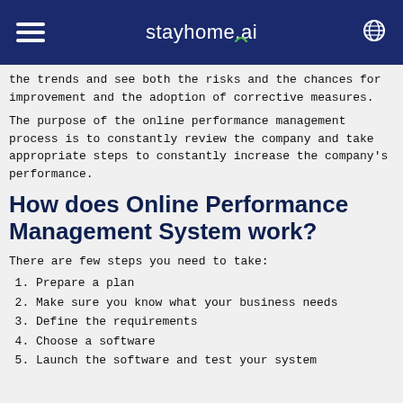stayhome.ai
the trends and see both the risks and the chances for improvement and the adoption of corrective measures.
The purpose of the online performance management process is to constantly review the company and take appropriate steps to constantly increase the company’s performance.
How does Online Performance Management System work?
There are few steps you need to take:
Prepare a plan
Make sure you know what your business needs
Define the requirements
Choose a software
Launch the software and test your system